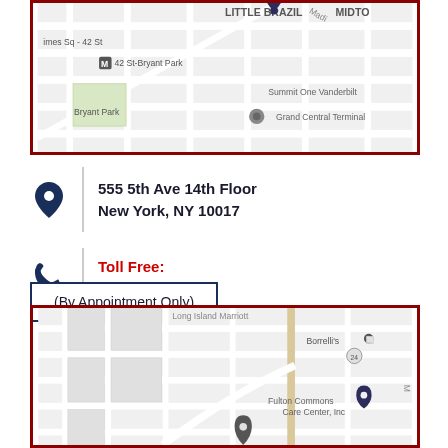[Figure (map): Street map showing Midtown Manhattan area near Bryant Park, 42 St-Bryant Park subway station, Summit One Vanderbilt, and Grand Central Terminal. A location pin is visible near Little Brazil/Madison Ave area.]
555 5th Ave 14th Floor
New York, NY 10017
Toll Free:
(866) 931-9532
(By Appointment Only)
[Figure (map): Street map showing Long Island area near Long Island Marriott, Borrelli's restaurant, Fulton Commons Care Center Inc., with a location pin visible.]